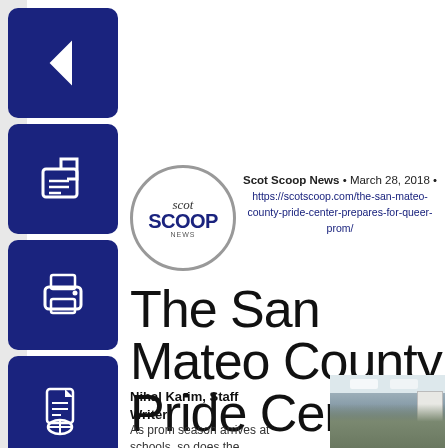[Figure (screenshot): Blue back arrow navigation button]
[Figure (screenshot): Blue edit/share button with Scot Scoop logo circle]
[Figure (logo): Scot Scoop circular logo with 'scot' in italic and 'SCOOP' in bold dark blue]
Scot Scoop News • March 28, 2018 • https://scotscoop.com/the-san-mateo-county-pride-center-prepares-for-queer-prom/
[Figure (screenshot): Blue print button]
[Figure (screenshot): Blue PDF/document button]
The San Mateo County Pride Center prepares for Queer Prom
Nihal Karim, Staff Writer
As prom season arrives at schools, so does the
[Figure (photo): Photo of people gathered in a meeting room with ceiling lights and a whiteboard]